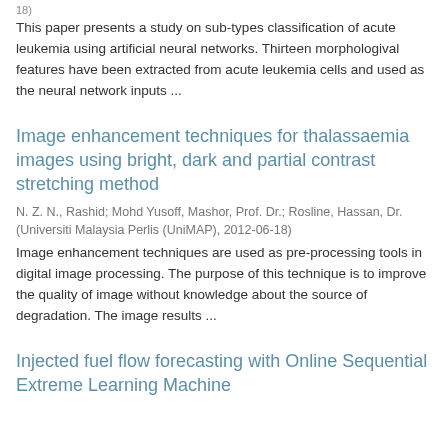18)
This paper presents a study on sub-types classification of acute leukemia using artificial neural networks. Thirteen morphologival features have been extracted from acute leukemia cells and used as the neural network inputs ...
Image enhancement techniques for thalassaemia images using bright, dark and partial contrast stretching method
N. Z. N., Rashid; Mohd Yusoff, Mashor, Prof. Dr.; Rosline, Hassan, Dr. (Universiti Malaysia Perlis (UniMAP), 2012-06-18)
Image enhancement techniques are used as pre-processing tools in digital image processing. The purpose of this technique is to improve the quality of image without knowledge about the source of degradation. The image results ...
Injected fuel flow forecasting with Online Sequential Extreme Learning Machine